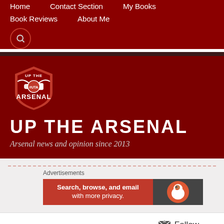Home | Contact Section | My Books | Book Reviews | About Me
[Figure (logo): Up The Arsenal shield logo with cannon and 'UTA' text]
UP THE ARSENAL
Arsenal news and opinion since 2013
Advertisements
[Figure (screenshot): DuckDuckGo advertisement banner: Search, browse, and email with more privacy]
Follow